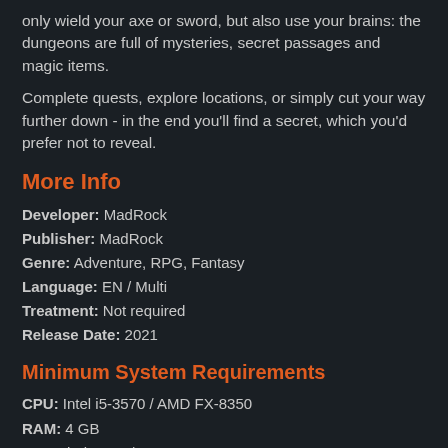only wield your axe or sword, but also use your brains: the dungeons are full of mysteries, secret passages and magic items.
Complete quests, explore locations, or simply cut your way further down - in the end you'll find a secret, which you'd prefer not to reveal.
More Info
Developer: MadRock
Publisher: MadRock
Genre: Adventure, RPG, Fantasy
Language: EN / Multi
Treatment: Not required
Release Date: 2021
Minimum System Requirements
CPU: Intel i5-3570 / AMD FX-8350
RAM: 4 GB
OS: Windows 7 / 10
Video Card: NVIDIA GeForce GTX 680 2 GB or AMD Radeon HD 7970
Free Disk Space: 30 GB